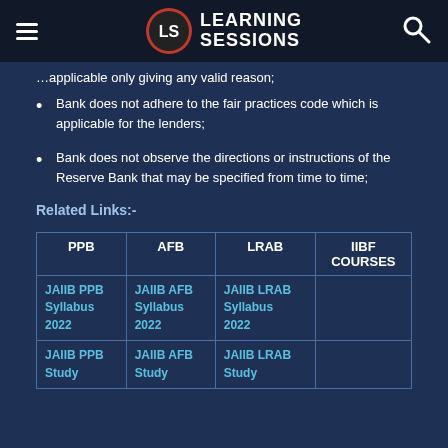Learning Sessions
…applicable only giving any valid reason;
Bank does not adhere to the fair practices code which is applicable for the lenders;
Bank does not observe the directions or instructions of the Reserve Bank that may be specified from time to time;
Related Links:-
| PPB | AFB | LRAB | IIBF COURSES |
| --- | --- | --- | --- |
| JAIIB PPB Syllabus 2022 | JAIIB AFB Syllabus 2022 | JAIIB LRAB Syllabus 2022 |  |
| JAIIB PPB Study | JAIIB AFB Study | JAIIB LRAB Study |  |